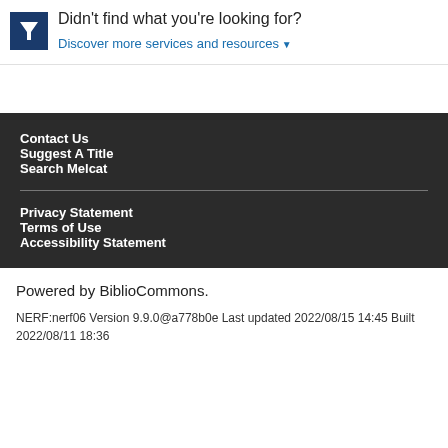Didn't find what you're looking for?
Discover more services and resources ▼
Contact Us
Suggest A Title
Search Melcat
Privacy Statement
Terms of Use
Accessibility Statement
Powered by BiblioCommons.
NERF:nerf06 Version 9.9.0@a778b0e Last updated 2022/08/15 14:45 Built 2022/08/11 18:36